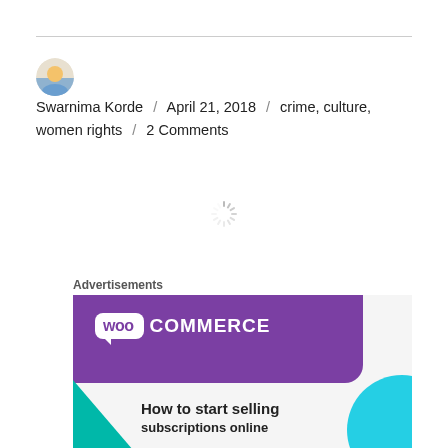Swarnima Korde / April 21, 2018 / crime, culture, women rights / 2 Comments
[Figure (other): Loading spinner icon]
Advertisements
[Figure (screenshot): WooCommerce advertisement banner: purple header with WooCommerce logo, teal and blue decorative shapes, text reading 'How to start selling subscriptions online']